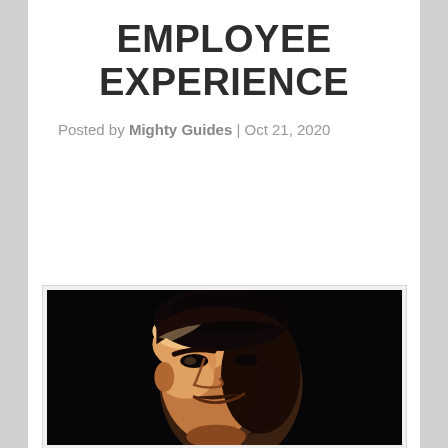EMPLOYEE EXPERIENCE
Posted by Mighty Guides | Oct 21, 2020
[Figure (photo): Close-up portrait photograph of a man with dark hair against a black background, dramatically lit from one side, looking upward slightly.]